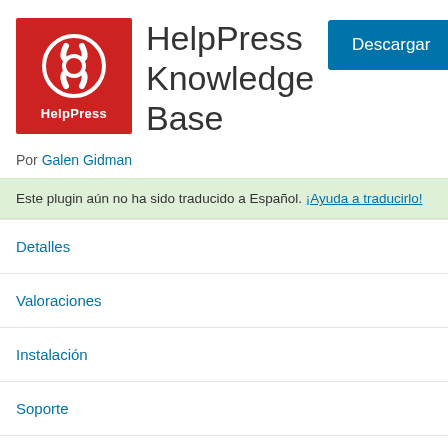[Figure (logo): HelpPress logo: red square background with white circular lifesaver/help icon and white text 'HelpPress' below the icon]
HelpPress Knowledge Base
Descargar
Por Galen Gidman
Este plugin aún no ha sido traducido a Español. ¡Ayuda a traducirlo!
Detalles
Valoraciones
Instalación
Soporte
Desarrollo